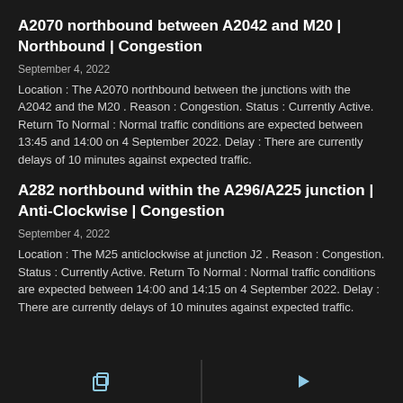A2070 northbound between A2042 and M20 | Northbound | Congestion
September 4, 2022
Location : The A2070 northbound between the junctions with the A2042 and the M20 . Reason : Congestion. Status : Currently Active. Return To Normal : Normal traffic conditions are expected between 13:45 and 14:00 on 4 September 2022. Delay : There are currently delays of 10 minutes against expected traffic.
A282 northbound within the A296/A225 junction | Anti-Clockwise | Congestion
September 4, 2022
Location : The M25 anticlockwise at junction J2 . Reason : Congestion. Status : Currently Active. Return To Normal : Normal traffic conditions are expected between 14:00 and 14:15 on 4 September 2022. Delay : There are currently delays of 10 minutes against expected traffic.
[Figure (other): Bottom navigation bar with copy icon on left and play/next icon on right, separated by a vertical divider line]